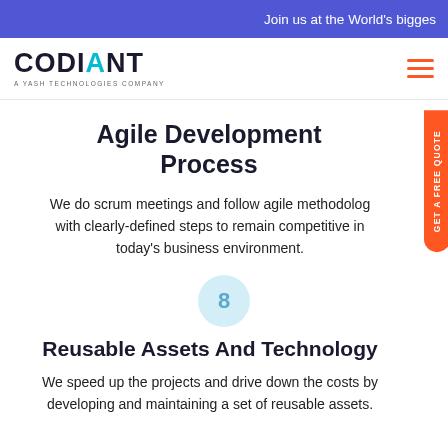Join us at the World's bigges
[Figure (logo): Codiant logo - A Yash Technologies Company]
Agile Development Process
We do scrum meetings and follow agile methodolog with clearly-defined steps to remain competitive in today's business environment.
8
Reusable Assets And Technology
We speed up the projects and drive down the costs by developing and maintaining a set of reusable assets.